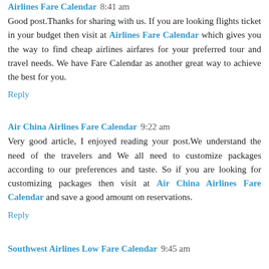Airlines Fare Calendar 8:41 am
Good post.Thanks for sharing with us. If you are looking flights ticket in your budget then visit at Airlines Fare Calendar which gives you the way to find cheap airlines airfares for your preferred tour and travel needs. We have Fare Calendar as another great way to achieve the best for you.
Reply
Air China Airlines Fare Calendar 9:22 am
Very good article, I enjoyed reading your post.We understand the need of the travelers and We all need to customize packages according to our preferences and taste. So if you are looking for customizing packages then visit at Air China Airlines Fare Calendar and save a good amount on reservations.
Reply
Southwest Airlines Low Fare Calendar 9:45 am